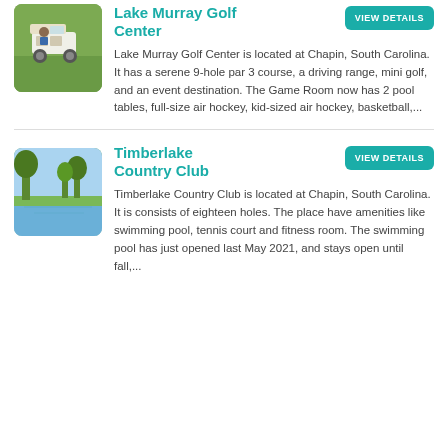[Figure (photo): Golf cart on a green golf course]
Lake Murray Golf Center
VIEW DETAILS
Lake Murray Golf Center is located at Chapin, South Carolina. It has a serene 9-hole par 3 course, a driving range, mini golf, and an event destination. The Game Room now has 2 pool tables, full-size air hockey, kid-sized air hockey, basketball,...
[Figure (photo): Timberlake Country Club scenic view with trees and lake]
Timberlake Country Club
VIEW DETAILS
Timberlake Country Club is located at Chapin, South Carolina. It is consists of eighteen holes. The place have amenities like swimming pool, tennis court and fitness room. The swimming pool has just opened last May 2021, and stays open until fall,...